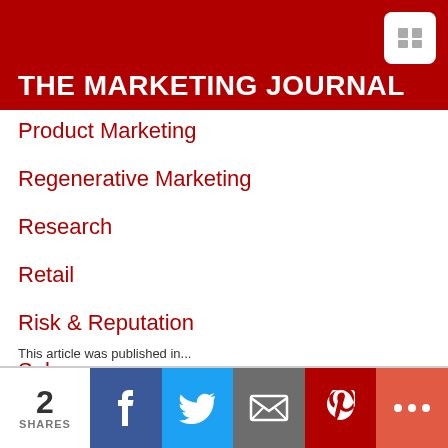THE MARKETING JOURNAL
Product Marketing
Regenerative Marketing
Research
Retail
Risk & Reputation
Sales
Services Marketing
Social Media
Strategy & Business Models
2 SHARES | Facebook | Twitter | Email | Pinterest | More